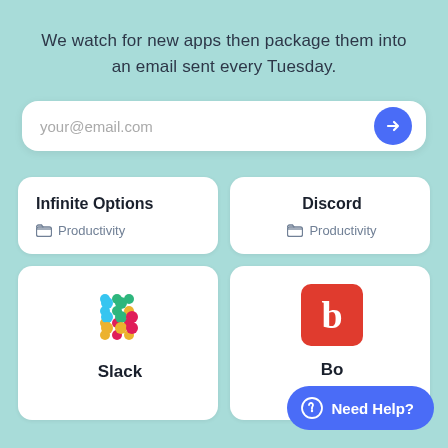We watch for new apps then package them into an email sent every Tuesday.
[Figure (screenshot): Email subscription input box with placeholder text 'your@email.com' and a blue arrow button on the right]
[Figure (screenshot): App card: Infinite Options, Productivity category]
[Figure (screenshot): App card: Discord, Productivity category]
[Figure (screenshot): App card: Slack with Slack logo]
[Figure (screenshot): App card: Bol... with red 'b' logo icon]
[Figure (screenshot): Need Help? chat button overlay]